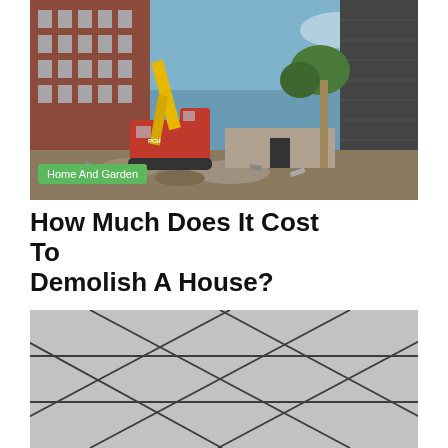[Figure (photo): Construction/demolition site with a yellow crane and red excavator machine amid rubble, with brick buildings in the background and a blue sky. A green badge reads 'Home And Garden'.]
How Much Does It Cost To Demolish A House?
[Figure (photo): Close-up photo of a textured grey suspended ceiling tile grid with diagonal pattern.]